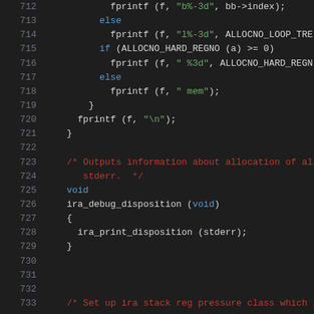[Figure (screenshot): Source code viewer showing C code lines 712-733, with syntax highlighting: line numbers in gray on the left, keywords in blue, string literals in green, comments in red/dark red, and default code in light gray, on a dark background.]